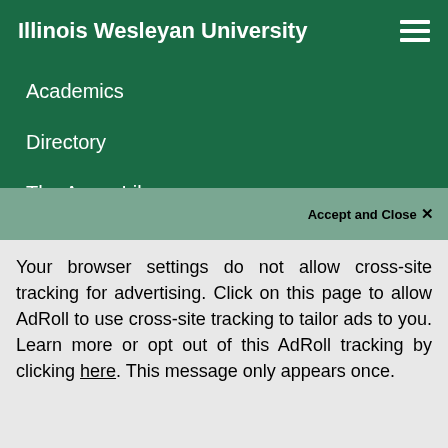Illinois Wesleyan University
Academics
Directory
The Ames Library
Campus Map
Bookstore
Your browser settings do not allow cross-site tracking for advertising. Click on this page to allow AdRoll to use cross-site tracking to tailor ads to you. Learn more or opt out of this AdRoll tracking by clicking here. This message only appears once.